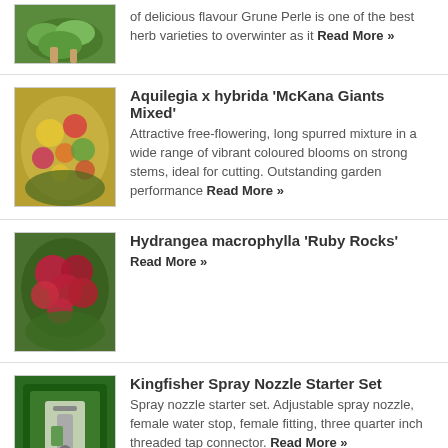of delicious flavour Grune Perle is one of the best herb varieties to overwinter as it Read More »
Aquilegia x hybrida 'McKana Giants Mixed' — Attractive free-flowering, long spurred mixture in a wide range of vibrant coloured blooms on strong stems, ideal for cutting. Outstanding garden performance Read More »
Hydrangea macrophylla 'Ruby Rocks' — Read More »
Kingfisher Spray Nozzle Starter Set — Spray nozzle starter set. Adjustable spray nozzle, female water stop, female fitting, three quarter inch threaded tap connector. Read More »
Tulip 'Striped Mix'